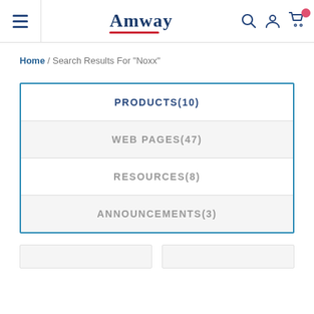Amway
Home / Search Results For "Noxx"
PRODUCTS(10)
WEB PAGES(47)
RESOURCES(8)
ANNOUNCEMENTS(3)